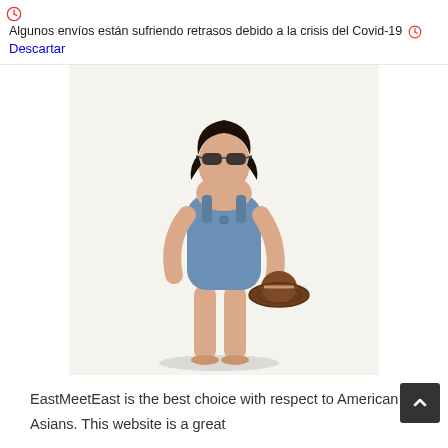🕐 Algunos envíos están sufriendo retrasos debido a la crisis del Covid-19 🕐 Descartar
[Figure (photo): A woman wearing a blue one-piece swimsuit and sunglasses, holding a brown straw hat, standing against a light background.]
EastMeetEast is the best choice with respect to American Asians. This website is a great